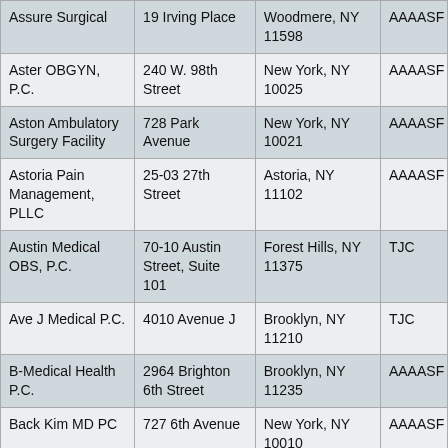| Assure Surgical | 19 Irving Place | Woodmere, NY 11598 | AAAASF |
| Aster OBGYN, P.C. | 240 W. 98th Street | New York, NY 10025 | AAAASF |
| Aston Ambulatory Surgery Facility | 728 Park Avenue | New York, NY 10021 | AAAASF |
| Astoria Pain Management, PLLC | 25-03 27th Street | Astoria, NY 11102 | AAAASF |
| Austin Medical OBS, P.C. | 70-10 Austin Street, Suite 101 | Forest Hills, NY 11375 | TJC |
| Ave J Medical P.C. | 4010 Avenue J | Brooklyn, NY 11210 | TJC |
| B-Medical Health P.C. | 2964 Brighton 6th Street | Brooklyn, NY 11235 | AAAASF |
| Back Kim MD PC | 727 6th Avenue | New York, NY 10010 | AAAASF |